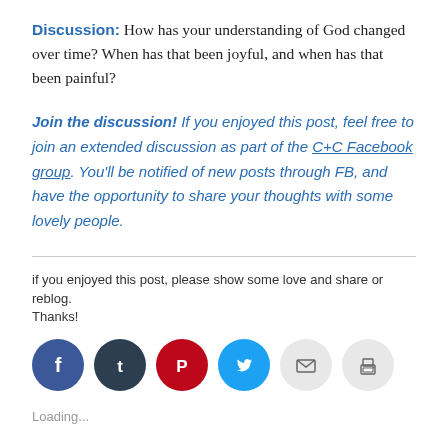Discussion: How has your understanding of God changed over time? When has that been joyful, and when has that been painful?
Join the discussion! If you enjoyed this post, feel free to join an extended discussion as part of the C+C Facebook group. You'll be notified of new posts through FB, and have the opportunity to share your thoughts with some lovely people.
if you enjoyed this post, please show some love and share or reblog. Thanks!
[Figure (infographic): Row of six social sharing icon circles: Facebook (blue), Tumblr (dark navy), Pinterest (red), Twitter (cyan), Email (light gray), Print (light gray)]
Loading...